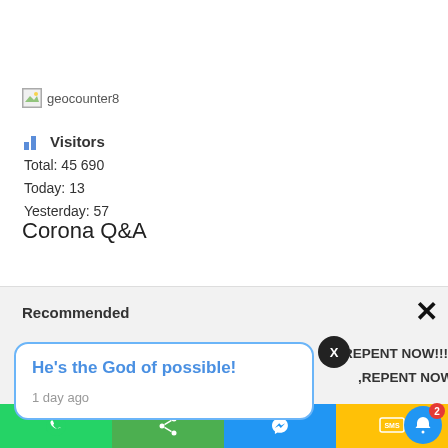[Figure (screenshot): Broken image placeholder labeled 'geocounter8']
Visitors
Total: 45 690
Today: 13
Yesterday: 57
Corona Q&A
Recommended
He's the God of possible!
1 day ago
,REPENT NOW!!!
,REPENT NOW!!!